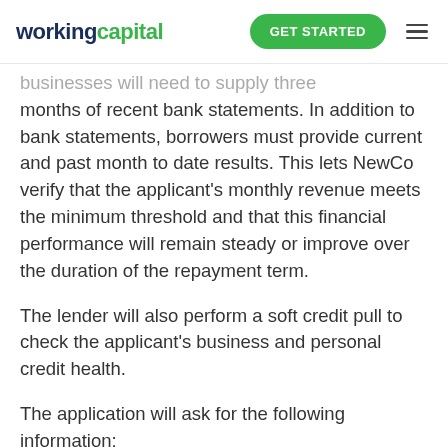workingcapital | GET STARTED
businesses will need to supply three months of recent bank statements. In addition to bank statements, borrowers must provide current and past month to date results. This lets NewCo verify that the applicant's monthly revenue meets the minimum threshold and that this financial performance will remain steady or improve over the duration of the repayment term.
The lender will also perform a soft credit pull to check the applicant's business and personal credit health.
The application will ask for the following information: